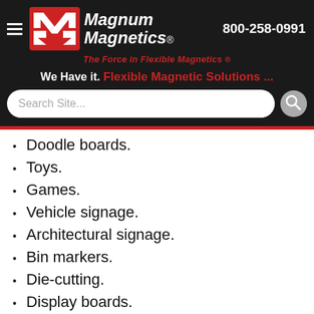[Figure (logo): Magnum Magnetics logo with red M icon and white italic brand name, phone number 800-258-0991, tagline 'The Force in Flexible Magnetics', search bar, and navigation header on dark background]
Doodle boards.
Toys.
Games.
Vehicle signage.
Architectural signage.
Bin markers.
Die-cutting.
Display boards.
Graphics.
Hand lettering.